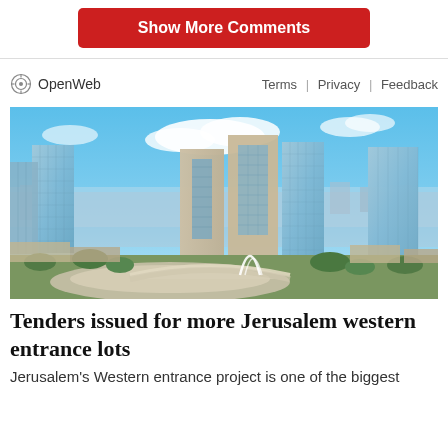Show More Comments
OpenWeb   Terms  |  Privacy  |  Feedback
[Figure (photo): Architectural rendering of Jerusalem western entrance project showing multiple modern glass skyscrapers and mixed-use towers against a blue sky with clouds, with landscaped roads and urban development below.]
Tenders issued for more Jerusalem western entrance lots
Jerusalem's Western entrance project is one of the biggest